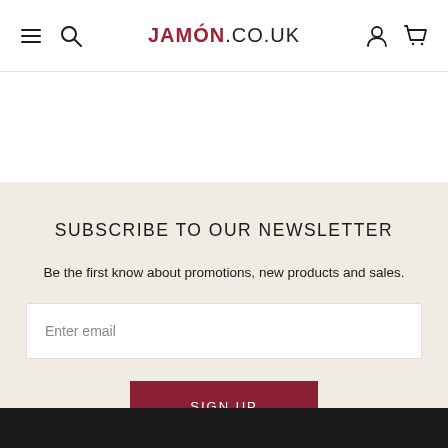JAMÓN.CO.UK
SUBSCRIBE TO OUR NEWSLETTER
Be the first know about promotions, new products and sales.
Enter email
SIGN UP